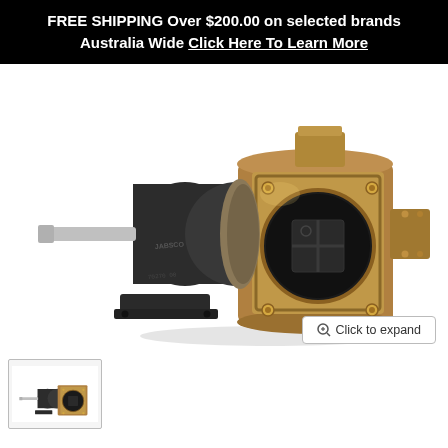FREE SHIPPING Over $200.00 on selected brands Australia Wide Click Here To Learn More
[Figure (photo): Industrial pump with black cast iron motor/gear section on left with mounting foot, connected to a bronze/brass pump head on right featuring a large circular port opening with square impeller visible inside, four corner mounting bolts on face plate, and side port connection.]
Click to expand
[Figure (photo): Small thumbnail of the same industrial pump showing side view of black motor and bronze pump head.]